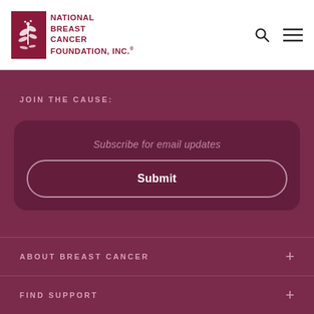National Breast Cancer Foundation, Inc.
JOIN THE CAUSE:
Subscribe for email updates
Submit
ABOUT BREAST CANCER
FIND SUPPORT